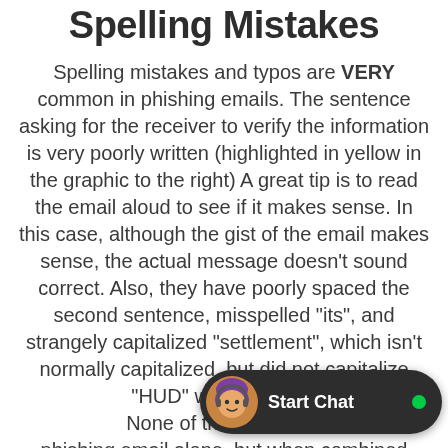Spelling Mistakes
Spelling mistakes and typos are VERY common in phishing emails. The sentence asking for the receiver to verify the information is very poorly written (highlighted in yellow in the graphic to the right) A great tip is to read the email aloud to see if it makes sense. In this case, although the gist of the email makes sense, the actual message doesn't sound correct. Also, they have poorly spaced the second sentence, misspelled "its", and strangely capitalized "settlement", which isn't normally capitalized, but did not capitalize "HUD" which might be... None of these hints ar... phishing email alone, but when combined